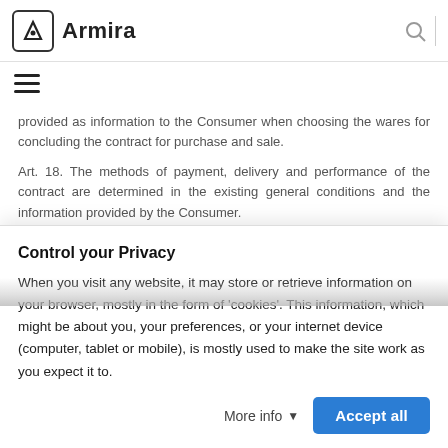Armira
provided as information to the Consumer when choosing the wares for concluding the contract for purchase and sale.
Art. 18. The methods of payment, delivery and performance of the contract are determined in the existing general conditions and the information provided by the Consumer.
Art. 19. The information provided to the Consumer is current at the moment of its visualization in the Platform before the conclusion of
Control your Privacy
When you visit any website, it may store or retrieve information on your browser, mostly in the form of 'cookies'. This information, which might be about you, your preferences, or your internet device (computer, tablet or mobile), is mostly used to make the site work as you expect it to.